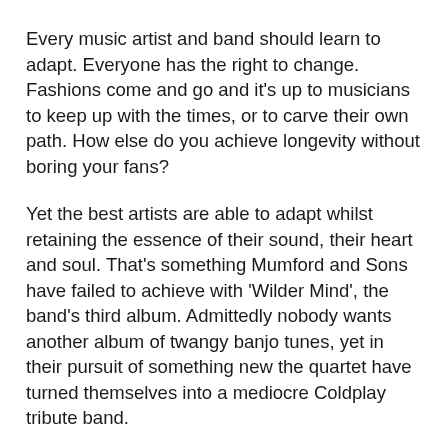Every music artist and band should learn to adapt. Everyone has the right to change. Fashions come and go and it's up to musicians to keep up with the times, or to carve their own path. How else do you achieve longevity without boring your fans?
Yet the best artists are able to adapt whilst retaining the essence of their sound, their heart and soul. That's something Mumford and Sons have failed to achieve with 'Wilder Mind', the band's third album. Admittedly nobody wants another album of twangy banjo tunes, yet in their pursuit of something new the quartet have turned themselves into a mediocre Coldplay tribute band.
Remember the days of uptempo sing-alongs? Bouncing around at Festivals to the frantic rhythms of The Cave or I Will Wait? Those days are over.
Instead, 'Wilder Mind' presents an album of dreary guitar tunes. There are elements of Bruce Springsteen, U2 and The Smiths, but equally every other 00s indie band you can think of. More often than not the songs are interchangeable.